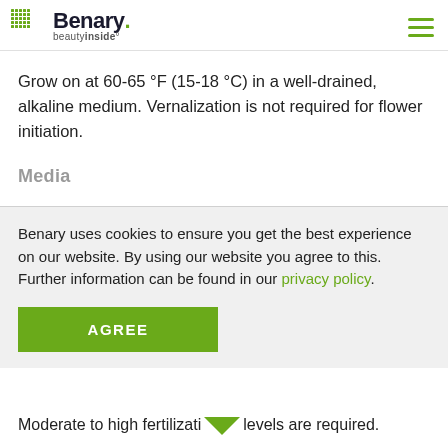Benary beautyinside
Grow on at 60-65 °F (15-18 °C) in a well-drained, alkaline medium. Vernalization is not required for flower initiation.
Media
Benary uses cookies to ensure you get the best experience on our website. By using our website you agree to this. Further information can be found in our privacy policy.
AGREE
Moderate to high fertilization levels are required.